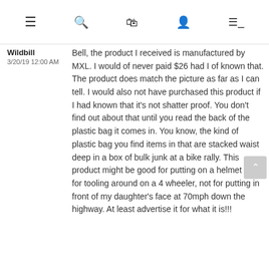Navigation bar with menu, search, bag, account, and filter icons
Wildbill
3/20/19 12:00 AM
Bell, the product I received is manufactured by MXL. I would of never paid $26 had I of known that. The product does match the picture as far as I can tell. I would also not have purchased this product if I had known that it's not shatter proof. You don't find out about that until you read the back of the plastic bag it comes in. You know, the kind of plastic bag you find items in that are stacked waist deep in a box of bulk junk at a bike rally. This product might be good for putting on a helmet used for tooling around on a 4 wheeler, not for putting in front of my daughter's face at 70mph down the highway. At least advertise it for what it is!!!
★★★
E. J. KOZAK
12/9/17 12:00 AM
While the visor length could be an inch longer to really cover a BIG head, the only real complaint is that the friction hinge is a little soft always allowing the visor to fall until it touches some part of your face. The end